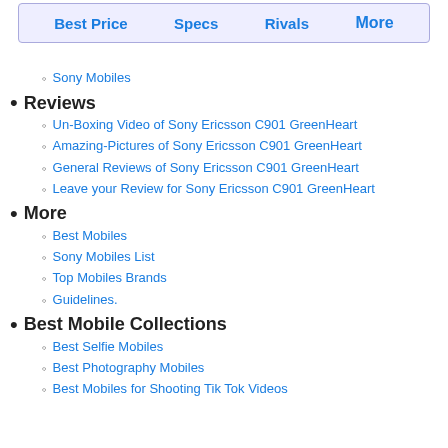Best Price | Specs | Rivals | More
Sony Mobiles
Reviews
Un-Boxing Video of Sony Ericsson C901 GreenHeart
Amazing-Pictures of Sony Ericsson C901 GreenHeart
General Reviews of Sony Ericsson C901 GreenHeart
Leave your Review for Sony Ericsson C901 GreenHeart
More
Best Mobiles
Sony Mobiles List
Top Mobiles Brands
Guidelines.
Best Mobile Collections
Best Selfie Mobiles
Best Photography Mobiles
Best Mobiles for Shooting Tik Tok Videos